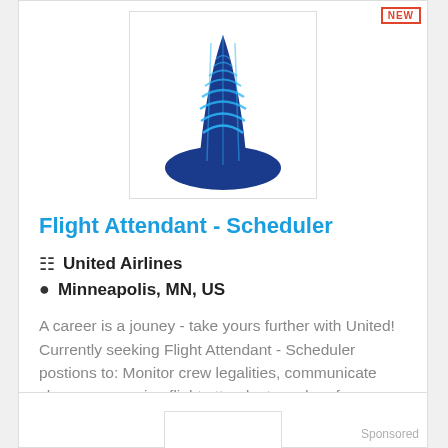[Figure (logo): United Airlines tail fin logo — blue tail with globe graphic]
Flight Attendant - Scheduler
United Airlines
Minneapolis, MN, US
A career is a jouney - take yours further with United! Currently seeking Flight Attendant - Scheduler postions to: Monitor crew legalities, communicate changes, reassign flight attendants and perform ...
More Details
Sponsored